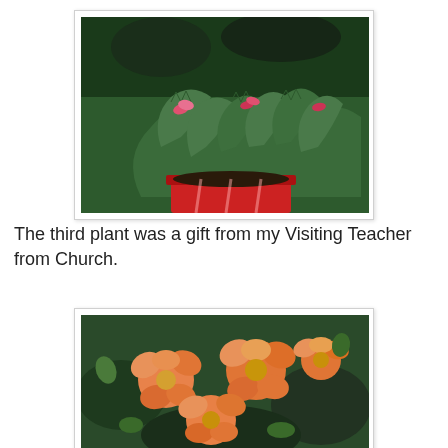[Figure (photo): A Christmas cactus plant with green segmented leaves and pink/red blooms in a red pot, photographed close-up.]
The third plant was a gift from my Visiting Teacher from Church.
[Figure (photo): Close-up of orange/salmon colored flowers, resembling kalanchoe or similar flowering plant with green leaves in background.]